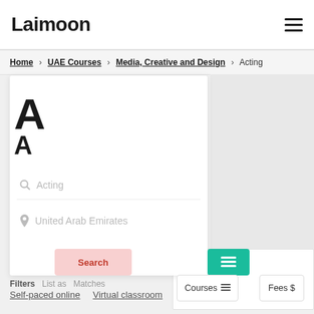Laimoon
Home > UAE Courses > Media, Creative and Design > Acting
[Figure (screenshot): Search panel with Acting keyword input and United Arab Emirates location input]
Filters  List as  Matches  Courses  Fees $
Self-paced online  Virtual classroom